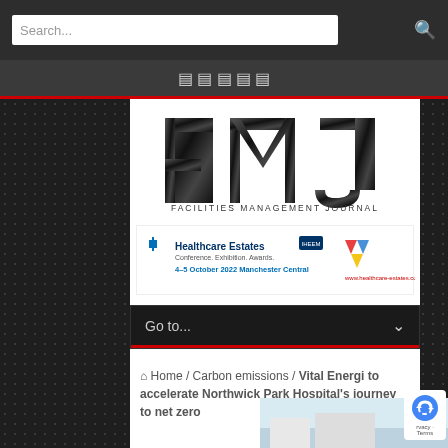Search...
[Figure (logo): FMJ Facilities Management Journal logo]
[Figure (illustration): Healthcare Estates Conference Exhibition Awards banner - IHEEM, 4-5 October 2022 Manchester Central, www.healthcare-estates.com]
Go to...
Home / Carbon emissions / Vital Energi to accelerate Northwick Park Hospital's journey to net zero
[Figure (photo): Article image - building/hospital exterior]